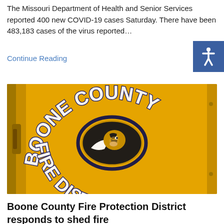The Missouri Department of Health and Senior Services reported 400 new COVID-19 cases Saturday. There have been 483,183 cases of the virus reported…
Continue Reading
[Figure (photo): Yellow Boone County Fire District vehicle door with logo featuring a tiger mascot in a black and gold oval, with text 'BOONE COUNTY FIRE DISTRICT' arched around it.]
Boone County Fire Protection District responds to shed fire